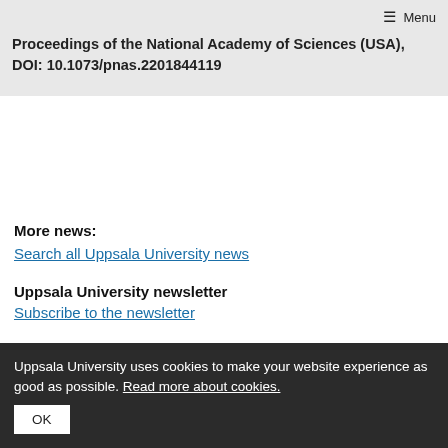≡ Menu
Proceedings of the National Academy of Sciences (USA), DOI: 10.1073/pnas.2201844119
More news:
Search all Uppsala University news
Uppsala University newsletter
Subscribe to the newsletter
Uppsala University uses cookies to make your website experience as good as possible. Read more about cookies.
OK